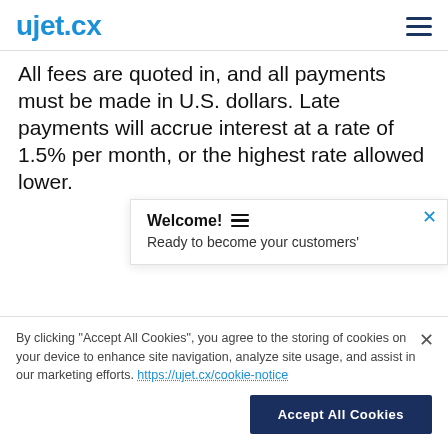ujet.cx
All fees are quoted in, and all payments must be made in U.S. dollars. Late payments will accrue interest at a rate of 1.5% per month, or the highest rate allowed lower.
Welcome! Ready to become your customers'
By clicking "Accept All Cookies", you agree to the storing of cookies on your device to enhance site navigation, analyze site usage, and assist in our marketing efforts. https://ujet.cx/cookie-notice
Accept All Cookies